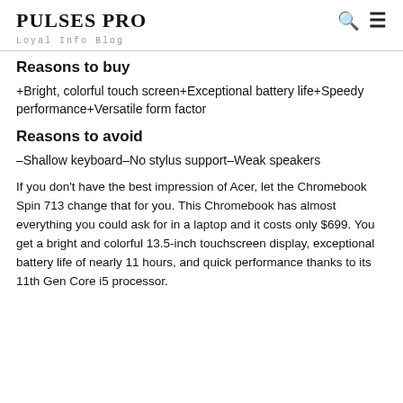PULSES PRO
Loyal Info Blog
Reasons to buy
+Bright, colorful touch screen+Exceptional battery life+Speedy performance+Versatile form factor
Reasons to avoid
–Shallow keyboard–No stylus support–Weak speakers
If you don't have the best impression of Acer, let the Chromebook Spin 713 change that for you. This Chromebook has almost everything you could ask for in a laptop and it costs only $699. You get a bright and colorful 13.5-inch touchscreen display, exceptional battery life of nearly 11 hours, and quick performance thanks to its 11th Gen Core i5 processor.